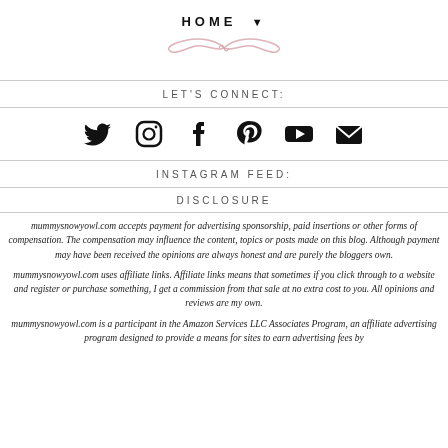HOME ▼
[Figure (illustration): Decorative pink cursive flourish/swirl divider]
LET'S CONNECT:
[Figure (infographic): Social media icons row: Twitter, Instagram, Facebook, Pinterest, YouTube, Email]
INSTAGRAM FEED:
DISCLOSURE
mummysnowyowl.com accepts payment for advertising sponsorship, paid insertions or other forms of compensation. The compensation may influence the content, topics or posts made on this blog. Although payment may have been received the opinions are always honest and are purely the bloggers own.
mummysnowyowl.com uses affiliate links. Affiliate links means that sometimes if you click through to a website and register or purchase something, I get a commission from that sale at no extra cost to you. All opinions and reviews are my own.
mummysnowyowl.com is a participant in the Amazon Services LLC Associates Program, an affiliate advertising program designed to provide a means for sites to earn advertising fees by